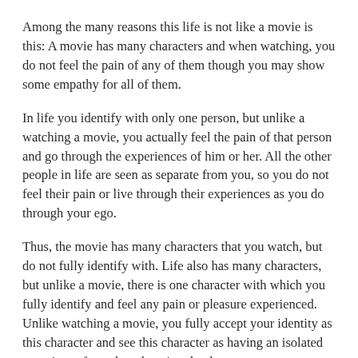Among the many reasons this life is not like a movie is this: A movie has many characters and when watching, you do not feel the pain of any of them though you may show some empathy for all of them.
In life you identify with only one person, but unlike a watching a movie, you actually feel the pain of that person and go through the experiences of him or her. All the other people in life are seen as separate from you, so you do not feel their pain or live through their experiences as you do through your ego.
Thus, the movie has many characters that you watch, but do not fully identify with. Life also has many characters, but unlike a movie, there is one character with which you fully identify and feel any pain or pleasure experienced. Unlike watching a movie, you fully accept your identity as this character and see this character as having an isolated experience from the others involved.